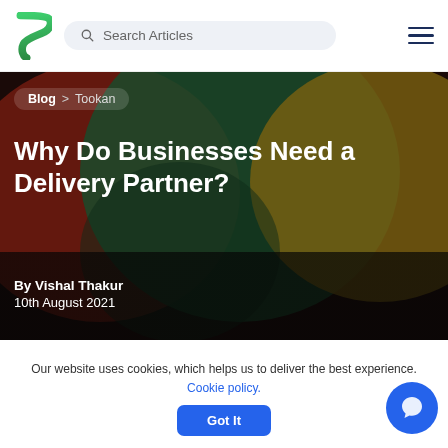[Figure (screenshot): Website navigation bar with green logo, search bar, and hamburger menu]
[Figure (photo): Abstract hero background with dark red, green, and golden/olive circular blobs]
Blog > Tookan
Why Do Businesses Need a Delivery Partner?
By Vishal Thakur
10th August 2021
Our website uses cookies, which helps us to deliver the best experience. Cookie policy. Got It